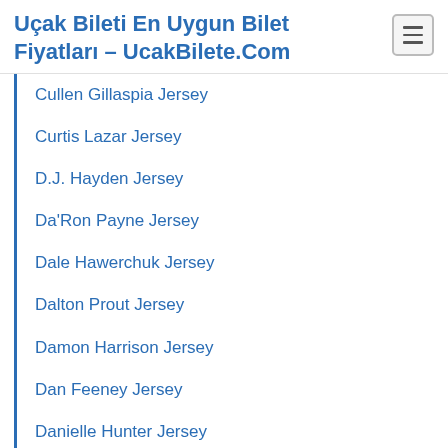Uçak Bileti En Uygun Bilet Fiyatları – UcakBilete.Com
Cullen Gillaspia Jersey
Curtis Lazar Jersey
D.J. Hayden Jersey
Da'Ron Payne Jersey
Dale Hawerchuk Jersey
Dalton Prout Jersey
Damon Harrison Jersey
Dan Feeney Jersey
Danielle Hunter Jersey